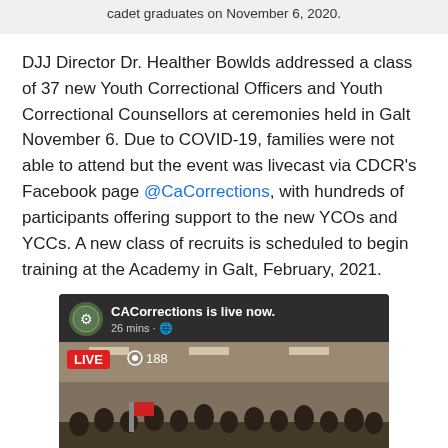cadet graduates on November 6, 2020.
DJJ Director Dr. Healther Bowlds addressed a class of 37 new Youth Correctional Officers and Youth Correctional Counsellors at ceremonies held in Galt November 6. Due to COVID-19, families were not able to attend but the event was livecast via CDCR's Facebook page @CaCorrections, with hundreds of participants offering support to the new YCOs and YCCs. A new class of recruits is scheduled to begin training at the Academy in Galt, February, 2021.
[Figure (screenshot): Facebook Live screenshot showing CACorrections is live now, 26 mins ago, with 188 viewers, showing a ceremony with uniformed personnel in a gymnasium.]